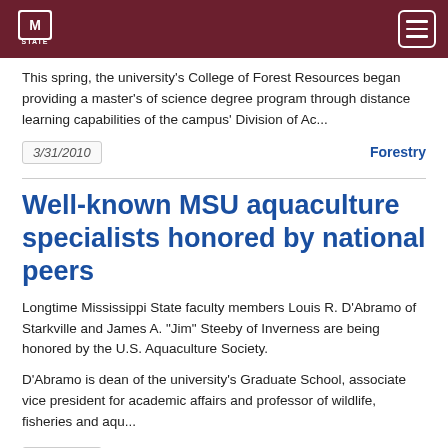Mississippi State University
This spring, the university's College of Forest Resources began providing a master's of science degree program through distance learning capabilities of the campus' Division of Ac...
3/31/2010
Forestry
Well-known MSU aquaculture specialists honored by national peers
Longtime Mississippi State faculty members Louis R. D'Abramo of Starkville and James A. "Jim" Steeby of Inverness are being honored by the U.S. Aquaculture Society.
D'Abramo is dean of the university's Graduate School, associate vice president for academic affairs and professor of wildlife, fisheries and aqu...
3/26/2010
Wildlife and Fisheries